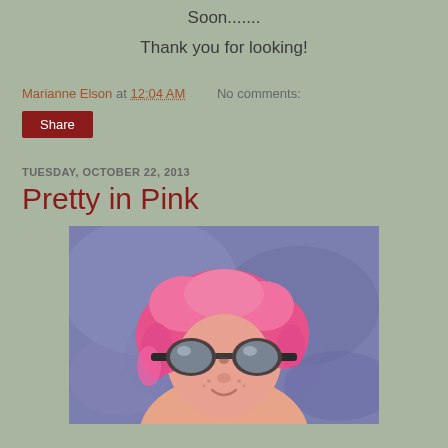Soon.......
Thank you for looking!
Marianne Elson at 12:04 AM    No comments:
Share
TUESDAY, OCTOBER 22, 2013
Pretty in Pink
[Figure (illustration): A painting of a child with pink hair wearing aviator goggles, shown from the torso up against a blue background.]